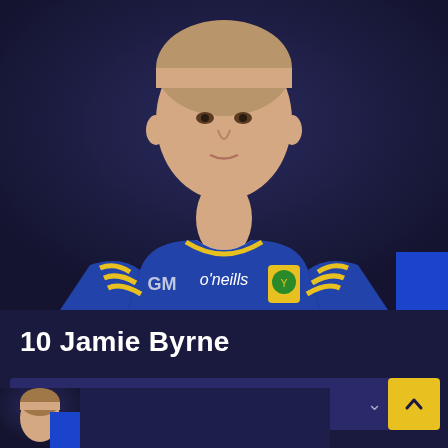[Figure (photo): Headshot of a young male Gaelic football player wearing a blue and yellow/gold O'Neills jersey with a county crest (green and yellow shield). He has short light brown hair and a neutral expression. The background is dark navy/blue.]
10 Jamie Byrne
10. Jamie Byrne
[Figure (photo): Partially visible headshot of another player at the bottom of the page, similar navy background.]